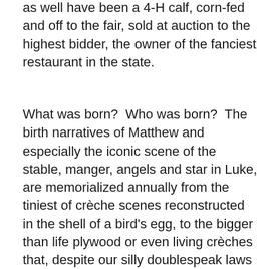as well have been a 4-H calf, corn-fed and off to the fair, sold at auction to the highest bidder, the owner of the fanciest restaurant in the state.
What was born?  Who was born?  The birth narratives of Matthew and especially the iconic scene of the stable, manger, angels and star in Luke, are memorialized annually from the tiniest of crèche scenes reconstructed in the shell of a bird's egg, to the bigger than life plywood or even living crèches that, despite our silly doublespeak laws about what religious freedom is or isn't, stand in front of churches or town squares worldwide.  God almighty, the things we fight about to avoid our own truth.
What was born? Who was born? Without doubt, a true Rose of Sharon, a balm in Gilead, a little Prince of Peace. And stories like these pasted onto the front of Matthew's